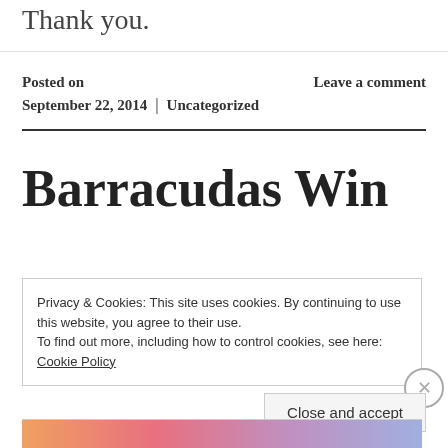Thank you.
Posted on
September 22, 2014 | Leave a comment
Uncategorized
Barracudas Win
Privacy & Cookies: This site uses cookies. By continuing to use this website, you agree to their use.
To find out more, including how to control cookies, see here: Cookie Policy
Close and accept